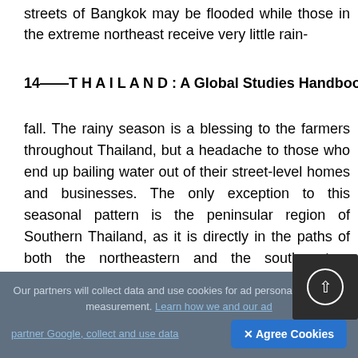streets of Bangkok may be flooded while those in the extreme northeast receive very little rain-
14——THAILAND: A Global Studies Handbook
fall. The rainy season is a blessing to the farmers throughout Thailand, but a headache to those who end up bailing water out of their street-level homes and businesses. The only exception to this seasonal pattern is the peninsular region of Southern Thailand, as it is directly in the paths of both the northeastern and the southwestern monsoo[ns. By] the time the northeastern monsoon has reached Southern Thailand, it has already accumulated significant humidity on its southwesterly journey.
Our partners will collect data and use cookies for ad personalization and measurement. Learn how we and our ad partner Google, collect and use data
✕ Agree Cookies